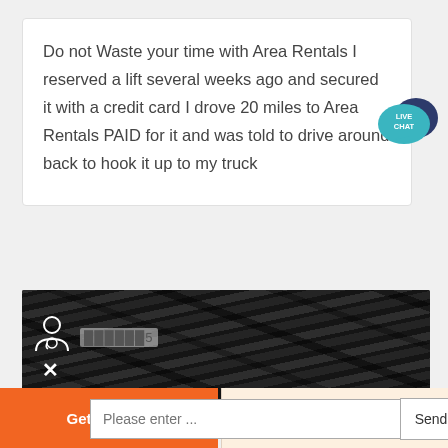Do not Waste your time with Area Rentals I reserved a lift several weeks ago and secured it with a credit card I drove 20 miles to Area Rentals PAID for it and was told to drive around back to hook it up to my truck
[Figure (photo): Photo of industrial warehouse ceiling/roof structure showing metal beams, corrugated roof panels, and chains, taken from below looking up. Has a doctor/user icon overlay with partially visible username and an X close button.]